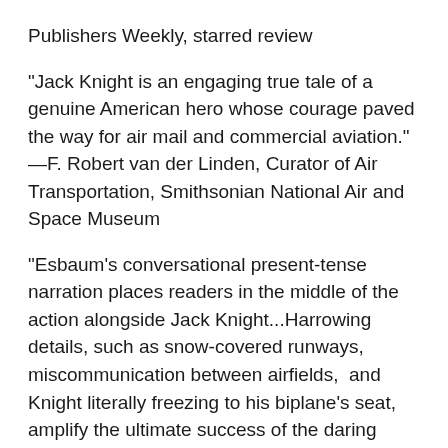Publishers Weekly, starred review
"Jack Knight is an engaging true tale of a genuine American hero whose courage paved the way for air mail and commercial aviation." —F. Robert van der Linden, Curator of Air Transportation, Smithsonian National Air and Space Museum
"Esbaum’s conversational present-tense narration places readers in the middle of the action alongside Jack Knight...Harrowing details, such as snow-covered runways, miscommunication between airfields,  and Knight literally freezing to his biplane’s seat, amplify the ultimate success of the daring pilot. Innerst’s mixed-media  illustrations, primarily rendered in watercolor, ink, and pencil, are expressive and atmospheric. Rather than depicting objects and characters realistically, he manipulates their sizes, shapes, and colors to accurately reflect the mood of any given scene.  A thrilling and well-told moment in the